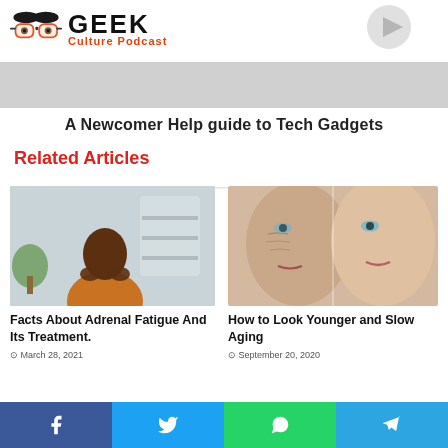[Figure (logo): Geek Culture Podcast logo with glasses icon]
[Figure (photo): Gray advertisement banner placeholder]
A Newcomer Help guide to Tech Gadgets
Related Articles
[Figure (photo): Man in orange sweater with hands clasped near face, sitting indoors]
Facts About Adrenal Fatigue And Its Treatment.
March 28, 2021
[Figure (photo): Close-up comparison of older and younger woman faces]
How to Look Younger and Slow Aging
September 20, 2020
Facebook Twitter WhatsApp Telegram social share buttons